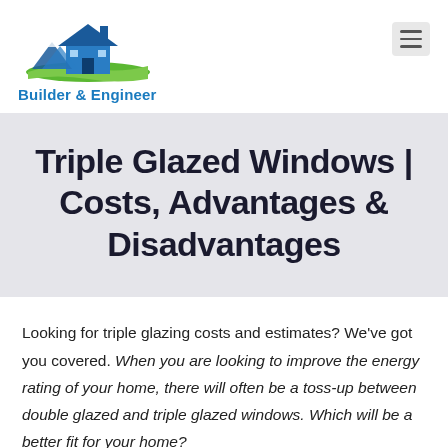Builder & Engineer
Triple Glazed Windows | Costs, Advantages & Disadvantages
Looking for triple glazing costs and estimates? We've got you covered. When you are looking to improve the energy rating of your home, there will often be a toss-up between double glazed and triple glazed windows. Which will be a better fit for your home?